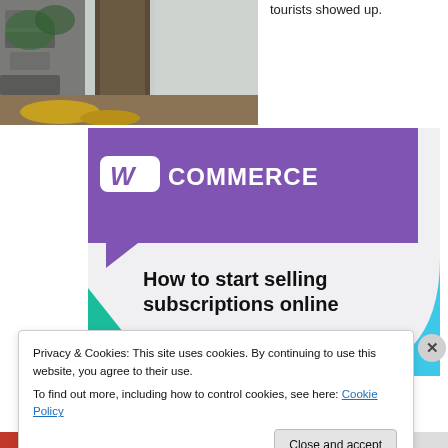[Figure (photo): Outdoor photo showing stone wall, tree trunk, and ground with yellow moss and mulch]
tourists showed up.
[Figure (illustration): WooCommerce promotional banner with purple header showing WooCommerce logo, green triangle decoration, blue arc decoration, and headline text: How to start selling subscriptions online]
Privacy & Cookies: This site uses cookies. By continuing to use this website, you agree to their use.
To find out more, including how to control cookies, see here: Cookie Policy
Close and accept